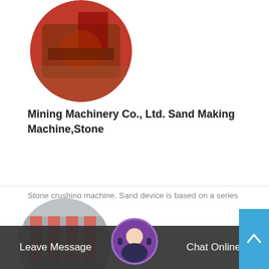[Figure (photo): Circular cropped photo of red mining/crushing machinery]
Mining Machinery Co., Ltd. Sand Making Machine,Stone
Stone crushing machine. Sand device is based on a series ofcrusherbased, related products. Powder makingmachine. ...Hammer crusheris referred to...
Read More →
[Figure (photo): Circular cropped photo of industrial machinery in warehouse]
[Figure (photo): Circular photo of customer service representative with headset]
Leave Message
Chat Online